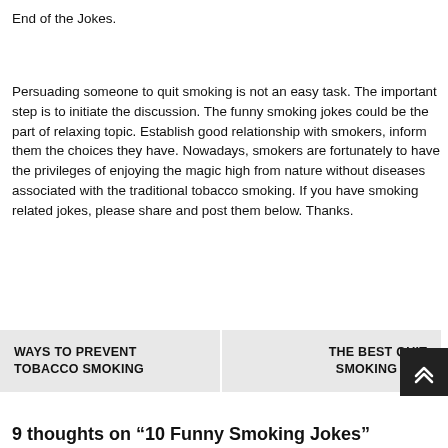End of the Jokes.
Persuading someone to quit smoking is not an easy task. The important step is to initiate the discussion. The funny smoking jokes could be the part of relaxing topic. Establish good relationship with smokers, inform them the choices they have. Nowadays, smokers are fortunately to have the privileges of enjoying the magic high from nature without diseases associated with the traditional tobacco smoking. If you have smoking related jokes, please share and post them below. Thanks.
WAYS TO PREVENT TOBACCO SMOKING
THE BEST QUIT SMOKING APP
9 thoughts on “10 Funny Smoking Jokes”